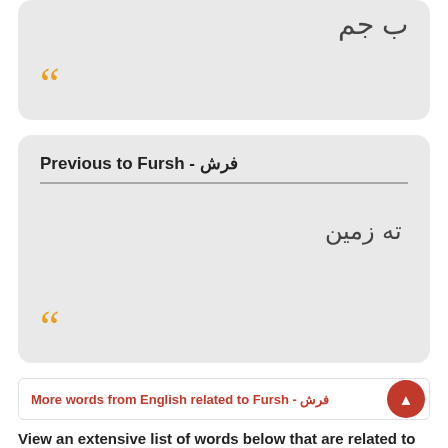[Figure (other): Card with Arabic text partially visible at top right and orange quote marks at bottom left]
Previous to Fursh - فرش
ته زمین
[Figure (other): Card with Farsi/Arabic text and orange quote marks at bottom left]
More words from English related to Fursh - فرش ▲
View an extensive list of words below that are related to the meaning of the word Fursh at its meaning in various...